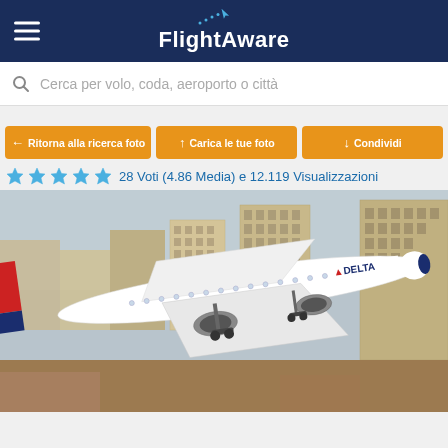FlightAware
Cerca per volo, coda, aeroporto o città
← Ritorna alla ricerca foto
↑ Carica le tue foto
↓ Condividi
28 Voti (4.86 Media) e 12.119 Visualizzazioni
[Figure (photo): Delta Airlines aircraft (Boeing 757) taking off with Las Vegas cityscape buildings in the background]